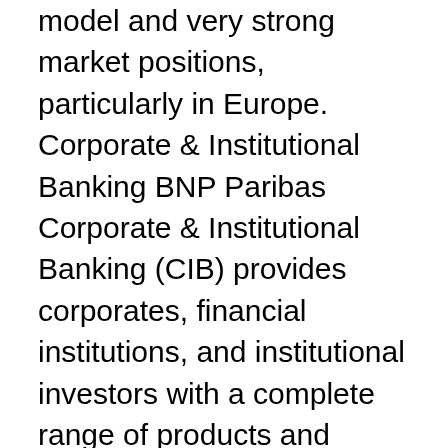model and very strong market positions, particularly in Europe. Corporate & Institutional Banking BNP Paribas Corporate & Institutional Banking (CIB) provides corporates, financial institutions, and institutional investors with a complete range of products and services from daily banking needs to sophisticated investment banking solutions. BNP Paribas provides you update and detailed information on Warrants, CBBCs and Inline Warrants, including market data and technical analysis. Easy and fast search engine helps you select products. Subscribe daily commentary to get market insight every morning. The BNP Paribas Group will launch a new stock funding solution for dealers in the UK.. This involves a collaboration between two divisions of the group, BNP Paribas Personal Finance and car … Book a test drive, talk